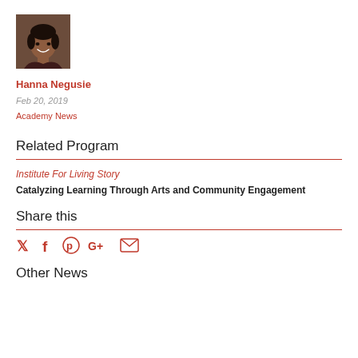[Figure (photo): Headshot photo of Hanna Negusie, a Black woman smiling, wearing a dark top]
Hanna Negusie
Feb 20, 2019
Academy News
Related Program
Institute For Living Story
Catalyzing Learning Through Arts and Community Engagement
Share this
[Figure (infographic): Social media share icons: Twitter, Facebook, Pinterest, Google+, Email]
Other News